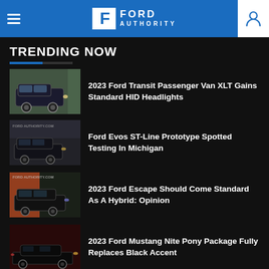Ford Authority
TRENDING NOW
2023 Ford Transit Passenger Van XLT Gains Standard HID Headlights
Ford Evos ST-Line Prototype Spotted Testing In Michigan
2023 Ford Escape Should Come Standard As A Hybrid: Opinion
2023 Ford Mustang Nite Pony Package Fully Replaces Black Accent
Ford F-150 Prototype Spotted With Video Recording System